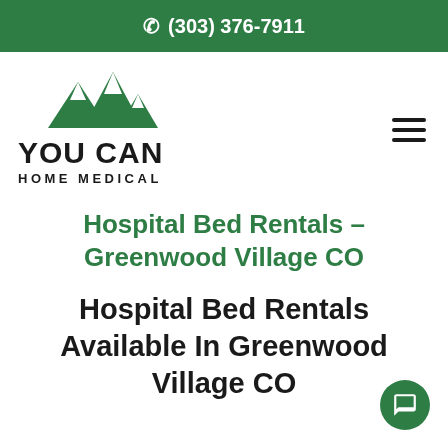(303) 376-7911
[Figure (logo): You Can Home Medical logo with green mountain peaks above bold text YOU CAN HOME MEDICAL]
Hospital Bed Rentals – Greenwood Village CO
Hospital Bed Rentals Available In Greenwood Village CO